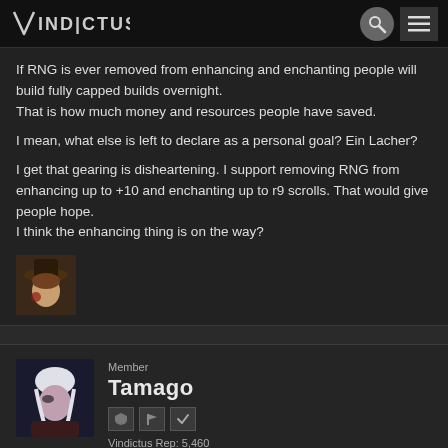VINDICTUS
If RNG is ever removed from enhancing and enchanting people will build fully capped builds overnight.
That is how much money and resources people have saved.

I mean, what else is left to declare as a personal goal? Ein Lacher?

I get that gearing is disheartening. I support removing RNG from enhancing up to +10 and enchanting up to r9 scrolls. That would give people hope.
I think the enhancing thing is on the way?
[Figure (photo): Small avatar image of a character in a hat]
Member
Tamago
Vindictus Rep: 5,460